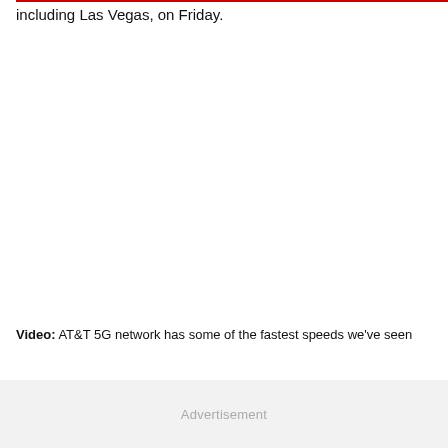including Las Vegas, on Friday.
Video: AT&T 5G network has some of the fastest speeds we've seen
Advertisement